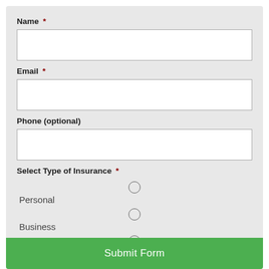Name *
Email *
Phone (optional)
Select Type of Insurance *
Personal
Business
Life
Submit Form